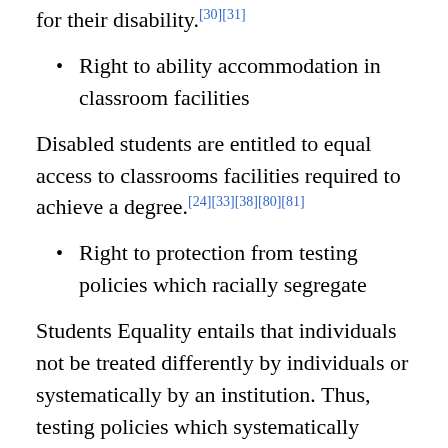for their disability.[30][31]
Right to ability accommodation in classroom facilities
Disabled students are entitled to equal access to classrooms facilities required to achieve a degree.[24][33][38][80][81]
Right to protection from testing policies which racially segregate
Students Equality entails that individuals not be treated differently by individuals or systematically by an institution. Thus, testing policies which systematically discriminate, are unlawful according to the constitution. United States v. Fordice (1992) prohibited the use of ACT scores in Mississippi admissions, for instance, because